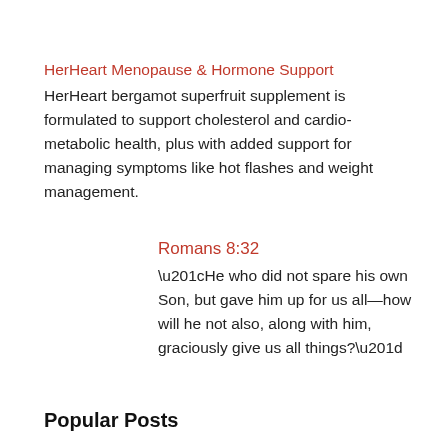HerHeart Menopause & Hormone Support
HerHeart bergamot superfruit supplement is formulated to support cholesterol and cardio-metabolic health, plus with added support for managing symptoms like hot flashes and weight management.
Romans 8:32
“He who did not spare his own Son, but gave him up for us all—how will he not also, along with him, graciously give us all things?”
Popular Posts